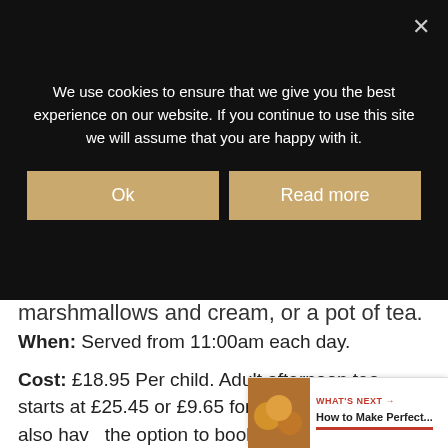We use cookies to ensure that we give you the best experience on our website. If you continue to use this site we will assume that you are happy with it.
Ok | Read more
marshmallows and cream, or a pot of tea.
When: Served from 11:00am each day.
Cost: £18.95 Per child. Adult afternoon tea starts at £25.45 or £9.65 for a cream tea. You also have the option to book to use the Cinderella Carriage with a usage fee of £12.95 per person with an additional minimum spend requ… £21 per person for adults or £13 for children under
WHAT'S NEXT → How to Make Perfect...